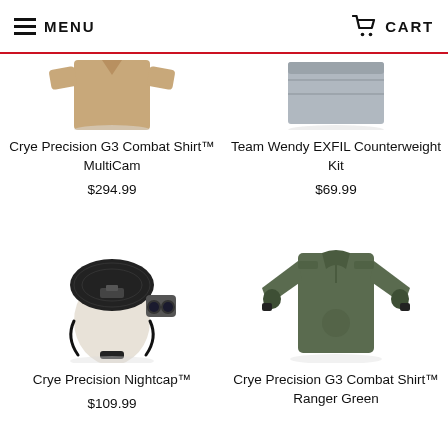MENU   CART
[Figure (photo): Partial product image – Crye Precision G3 Combat Shirt MultiCam (tan/khaki color, cropped at top)]
Crye Precision G3 Combat Shirt™ MultiCam
$294.99
[Figure (photo): Partial product image – Team Wendy EXFIL Counterweight Kit (grey box shape, cropped at top)]
Team Wendy EXFIL Counterweight Kit
$69.99
[Figure (photo): Crye Precision Nightcap – black helmet liner/cap with chin strap and night vision goggle mount, on a mannequin head]
Crye Precision Nightcap™
$109.99
[Figure (photo): Crye Precision G3 Combat Shirt Ranger Green – olive/ranger green combat shirt displayed front view]
Crye Precision G3 Combat Shirt™ Ranger Green